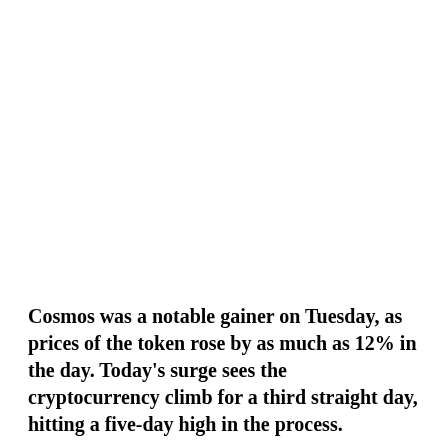Cosmos was a notable gainer on Tuesday, as prices of the token rose by as much as 12% in the day. Today's surge sees the cryptocurrency climb for a third straight day, hitting a five-day high in the process.